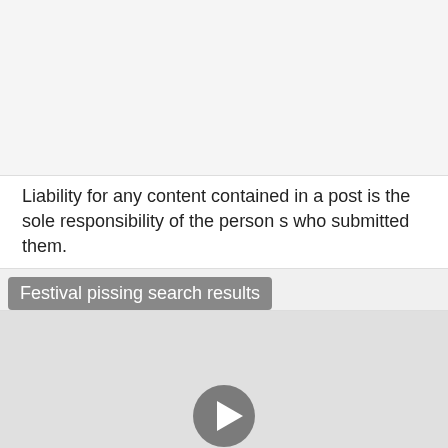[Figure (other): Top image area, mostly blank/white screenshot region]
Liability for any content contained in a post is the sole responsibility of the person s who submitted them.
Festival pissing search results
[Figure (other): Video thumbnail area with play button, gray background]
We proudly show to you girls, milf and teens 18-22 fucking, masturbating, shitting and pissing, and spied in their intimate moment